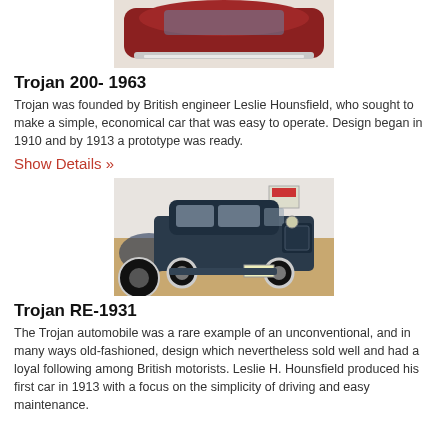[Figure (photo): Top portion of a red classic car, showing the roof and chrome bumper in a showroom.]
Trojan 200- 1963
Trojan was founded by British engineer Leslie Hounsfield, who sought to make a simple, economical car that was easy to operate. Design began in 1910 and by 1913 a prototype was ready.
Show Details »
[Figure (photo): A dark blue vintage Trojan RE-1931 automobile displayed in a museum showroom with other vehicles visible in the background.]
Trojan RE-1931
The Trojan automobile was a rare example of an unconventional, and in many ways old-fashioned, design which nevertheless sold well and had a loyal following among British motorists. Leslie H. Hounsfield produced his first car in 1913 with a focus on the simplicity of driving and easy maintenance.